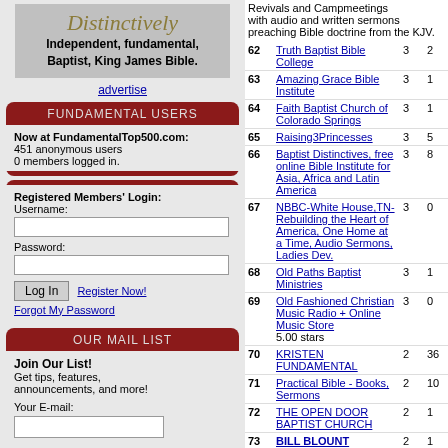[Figure (illustration): Banner with 'Distinctively' in italic script and text 'Independent, fundamental, Baptist, King James Bible.']
advertise
FUNDAMENTAL USERS
Now at FundamentalTop500.com:
451 anonymous users
0 members logged in.
Registered Members' Login:
Username:
Password:
Log In  Register Now!
Forgot My Password
OUR MAIL LIST
Join Our List!
Get tips, features, announcements, and more!
Your E-mail:
Revivals and Campmeetings with audio and written sermons preaching Bible doctrine from the KJV.
| # | Site | Votes | In |
| --- | --- | --- | --- |
| 62 | Truth Baptist Bible College | 3 | 2 |
| 63 | Amazing Grace Bible Institute | 3 | 1 |
| 64 | Faith Baptist Church of Colorado Springs | 3 | 1 |
| 65 | Raising3Princesses | 3 | 5 |
| 66 | Baptist Distinctives, free online Bible Institute for Asia, Africa and Latin America | 3 | 8 |
| 67 | NBBC-White House,TN- Rebuilding the Heart of America, One Home at a Time, Audio Sermons, Ladies Dev. | 3 | 0 |
| 68 | Old Paths Baptist Ministries | 3 | 1 |
| 69 | Old Fashioned Christian Music Radio + Online Music Store 5.00 stars | 3 | 0 |
| 70 | KRISTEN FUNDAMENTAL | 2 | 36 |
| 71 | Practical Bible - Books, Sermons | 2 | 10 |
| 72 | THE OPEN DOOR BAPTIST CHURCH | 2 | 1 |
| 73 | BILL BLOUNT MINISTRIES | 2 | 1 |
| 74 | Faithful Word Baptist Church | 2 | 5 |
| 75 | Online Churches - A Resource for getting your ministry online. | 2 | 4 |
| 76 | The Power Of Truth | 2 | 4 |
| 77 | Watch The Tower - Former Jehovah's Witness site | 2 | 1 |
| 78 | Come up Hither - ( You will be Amazed ) | 2 | 0 |